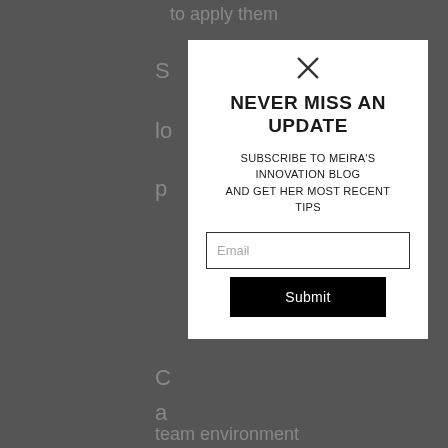to apply them
S
lo
p
[Figure (screenshot): A modal popup dialog with a close X button at top, bold headline 'NEVER MISS AN UPDATE', subtitle text 'SUBSCRIBE TO MEIRA'S INNOVATION BLOG AND GET HER MOST RECENT TIPS', an email input field with placeholder 'Email', and a black Submit button]
C
a
team environment